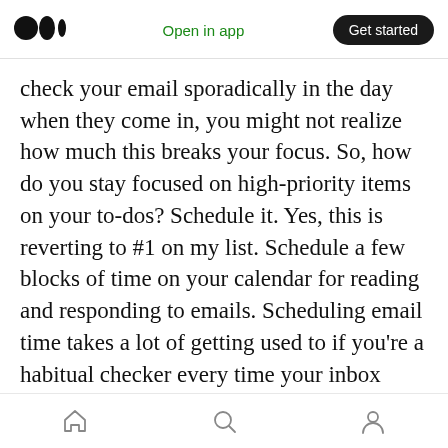Medium logo | Open in app | Get started
check your email sporadically in the day when they come in, you might not realize how much this breaks your focus. So, how do you stay focused on high-priority items on your to-dos? Schedule it. Yes, this is reverting to #1 on my list. Schedule a few blocks of time on your calendar for reading and responding to emails. Scheduling email time takes a lot of getting used to if you're a habitual checker every time your inbox dings. You can glance at your incoming mail to ensure you don't miss something super urgent, but make sure not to get sucked into the email hole unless
Home | Search | Profile